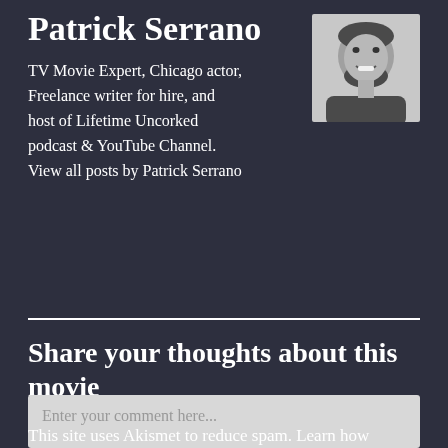Patrick Serrano
[Figure (photo): Black and white headshot photo of Patrick Serrano, a smiling bearded man]
TV Movie Expert, Chicago actor, Freelance writer for hire, and host of Lifetime Uncorked podcast & YouTube Channel. View all posts by Patrick Serrano
Share your thoughts about this movie
Enter your comment here...
Support Me
This site uses Akismet to reduce spam. Learn how